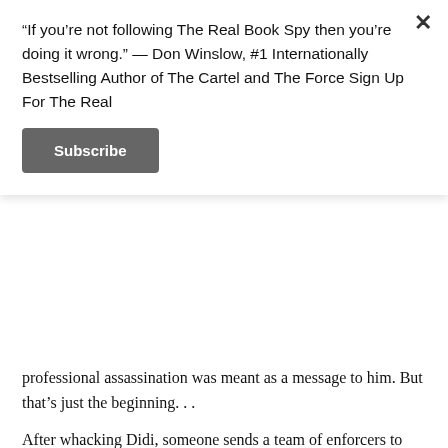“If you’re not following The Real Book Spy then you’re doing it wrong.” — Don Winslow, #1 Internationally Bestselling Author of The Cartel and The Force Sign Up For The Real
Subscribe
[Figure (photo): Book cover section showing author name AIDAN TRUHEN in large white bold text on a dark red background, with a 'Copyrighted Material' watermark.]
professional assassination was meant as a message to him. But that’s just the beginning. . .
After whacking Didi, someone sends a team of enforcers to throw Jack a beating at his apartment, which they do. Still, Jack, a high-end cocaine drug dealer, holds his ground, determined to